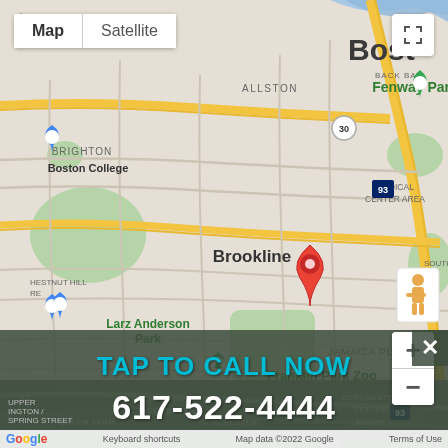[Figure (map): Google Maps screenshot showing Boston area including Brookline, Fenway Park, Jamaica Plain, Franklin Park Zoo, Larz Anderson Park, Boston College, and surrounding neighborhoods. A red location pin is placed in Brookline/Jamaica Plain area. Map shows both upper detailed view and lower zoomed-out view with overlay.]
TAP TO CALL NOW
617-522-4444